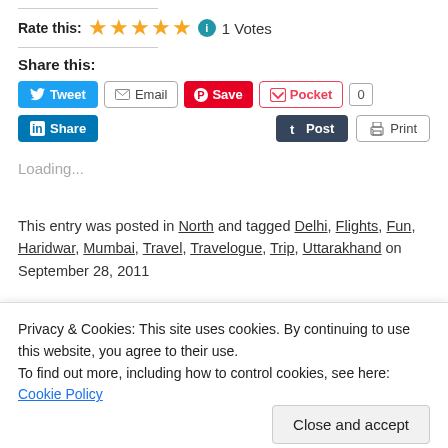Rate this: ★★★★★ ℹ 1 Votes
Share this:
[Figure (infographic): Social share buttons: Tweet, Email, Save (Pinterest), Pocket (count: 0), LinkedIn Share, Tumblr Post, Print]
Loading...
This entry was posted in North and tagged Delhi, Flights, Fun, Haridwar, Mumbai, Travel, Travelogue, Trip, Uttarakhand on September 28, 2011.
Privacy & Cookies: This site uses cookies. By continuing to use this website, you agree to their use.
To find out more, including how to control cookies, see here: Cookie Policy
Close and accept